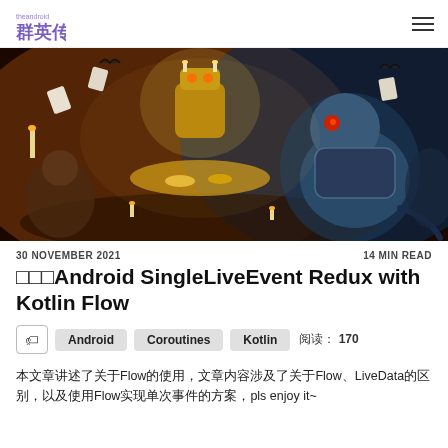theandroid 群英传 (logo)
[Figure (illustration): Fantasy game art showing a large mechanical robot/golem with candles, surrounded by various fantasy creatures including a large armored rat/rodent character, in a dungeon-like setting with warm orange and blue tones]
30 NOVEMBER 2021
14 MIN READ
□□□Android SingleLiveEvent Redux with Kotlin Flow
Android   Coroutines   Kotlin   阅读：  170
本文章讲述了关于Flow的使用，文章内容涉及了关于Flow、LiveData的区别，以及使用Flow实现单次事件的方案，pls enjoy it~